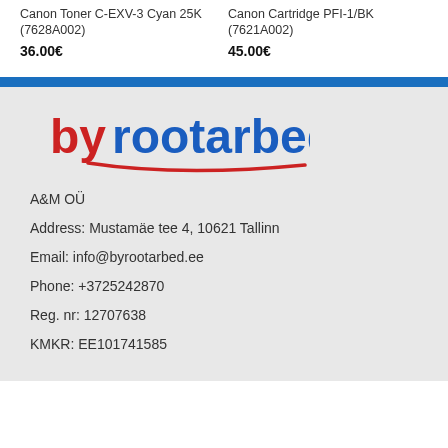Canon Toner C-EXV-3 Cyan 25K (7628A002)
36.00€
Canon Cartridge PFI-1/BK (7621A002)
45.00€
[Figure (logo): byrootarbed.ee logo with blue text and red accent underscore line]
A&M OÜ
Address: Mustamäe tee 4, 10621 Tallinn
Email: info@byrootarbed.ee
Phone: +3725242870
Reg. nr: 12707638
KMKR: EE101741585